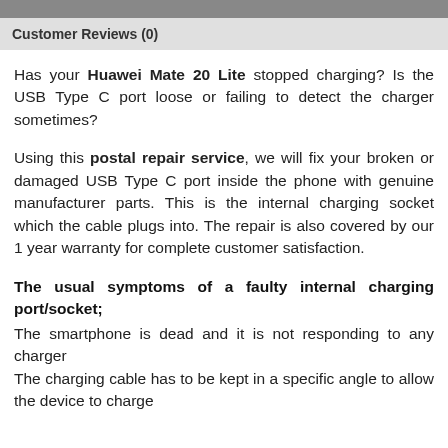Customer Reviews (0)
Has your Huawei Mate 20 Lite stopped charging? Is the USB Type C port loose or failing to detect the charger sometimes?
Using this postal repair service, we will fix your broken or damaged USB Type C port inside the phone with genuine manufacturer parts. This is the internal charging socket which the cable plugs into. The repair is also covered by our 1 year warranty for complete customer satisfaction.
The usual symptoms of a faulty internal charging port/socket;
The smartphone is dead and it is not responding to any charger
The charging cable has to be kept in a specific angle to allow the device to charge